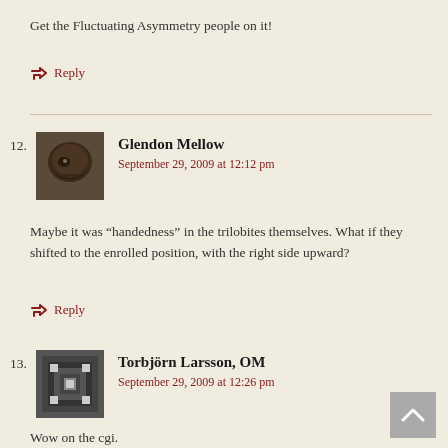Get the Fluctuating Asymmetry people on it!
↳ Reply
12. Glendon Mellow
September 29, 2009 at 12:12 pm

Maybe it was “handedness” in the trilobites themselves. What if they shifted to the enrolled position, with the right side upward?
↳ Reply
13. Torbjörn Larsson, OM
September 29, 2009 at 12:26 pm

Wow on the cgi.